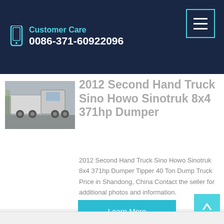Customer Care
0086-371-60922096
[Figure (photo): A white Sino Howo truck (heavy dump truck) photographed outdoors with trees in background]
2012 Second Hand Truck Sino Howo Sinotruk 8x4 371hp Dumper
2012 Second Hand Truck Sino Howo Sinotruk 8x4 371hp Dumper Tipper 40 Ton Dump Truck Price in Shandong, China Contact the seller for additional photos and information.
Learn More